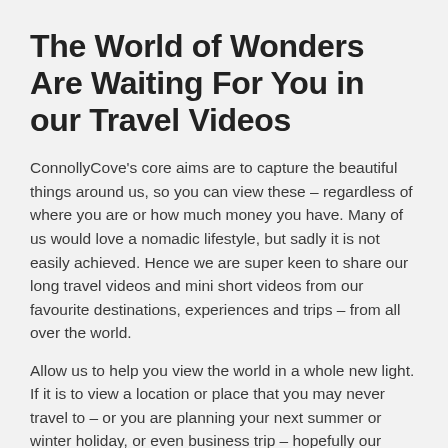The World of Wonders Are Waiting For You in our Travel Videos
ConnollyCove's core aims are to capture the beautiful things around us, so you can view these – regardless of where you are or how much money you have. Many of us would love a nomadic lifestyle, but sadly it is not easily achieved. Hence we are super keen to share our long travel videos and mini short videos from our favourite destinations, experiences and trips – from all over the world.
Allow us to help you view the world in a whole new light. If it is to view a location or place that you may never travel to – or you are planning your next summer or winter holiday, or even business trip – hopefully our travel videos will help shine some light on what you should and should not do on your next adventure.